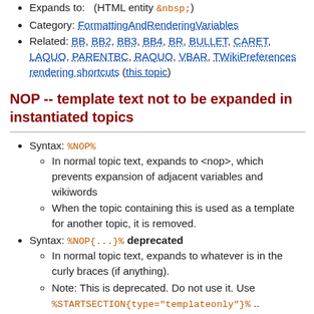Expands to:   (HTML entity &nbsp;)
Category: FormattingAndRenderingVariables
Related: BB, BB2, BB3, BB4, BR, BULLET, CARET, LAQUO, PARENTBC, RAQUO, VBAR, TWikiPreferences rendering shortcuts (this topic)
NOP -- template text not to be expanded in instantiated topics
Syntax: %NOP%
In normal topic text, expands to <nop>, which prevents expansion of adjacent variables and wikiwords
When the topic containing this is used as a template for another topic, it is removed.
Syntax: %NOP{...}% deprecated
In normal topic text, expands to whatever is in the curly braces (if anything).
Note: This is deprecated. Do not use it. Use %STARTSECTION{type="templateonly"}% .. %ENDSECTION{type="templateonly"}% instead (see TWikiTemplates for more details).
Category: FormattingAndRenderingVariables